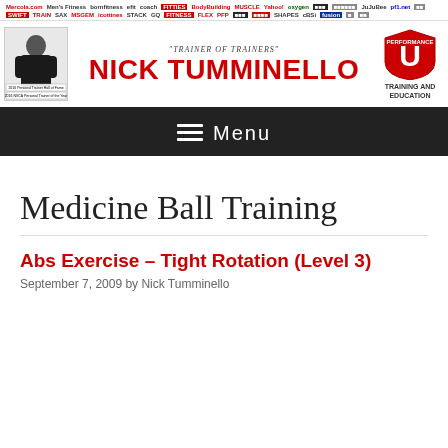[Figure (illustration): Row of media/publication logos including MensHealth, BornFitness, Yahoo, Oxygen, GQ, FLEX, SHAPE, CBSi, and others across two rows]
[Figure (illustration): Header banner with photo of Nick Tumminello in black shirt with arms crossed, text 'TRAINER OF TRAINERS' and 'NICK TUMMINELLO' in large red letters, Performance U Training and Education logo on right, two badge labels on photo: '2016 Personal Trainer Hall of Fame' and '2016 NSCA Personal Trainer of the Year']
≡  Menu
Medicine Ball Training
Abs Exercise – Tight Rotation (Level 3)
September 7, 2009 by Nick Tumminello